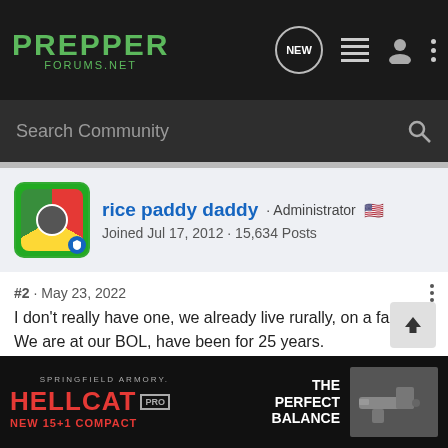PREPPER FORUMS.NET — navigation bar with NEW, list, user, and more icons
Search Community
rice paddy daddy · Administrator
Joined Jul 17, 2012 · 15,634 Posts
#2 · May 23, 2022
I don't really have one, we already live rurally, on a farm. We are at our BOL, have been for 25 years.
My farm truck is an '07 GMC Sierra 1500 Crew Cab 4X4, off road package, towing package, 5.3 V-8, every option that was available except sun roof.
Wife's truck is an '07 Chevy Silverado 2500 Heavy Duty turbo diesel, 4... ing package... ad
[Figure (other): SPRINGFIELD ARMORY HELLCAT PRO advertisement banner at the bottom of the page]